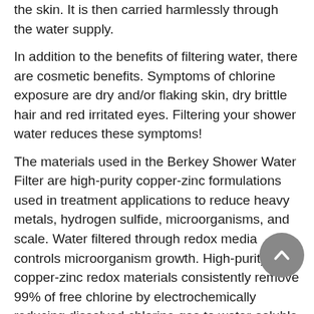the skin. It is then carried harmlessly through the water supply.
In addition to the benefits of filtering water, there are cosmetic benefits. Symptoms of chlorine exposure are dry and/or flaking skin, dry brittle hair and red irritated eyes. Filtering your shower water reduces these symptoms!
The materials used in the Berkey Shower Water Filter are high-purity copper-zinc formulations used in treatment applications to reduce heavy metals, hydrogen sulfide, microorganisms, and scale. Water filtered through redox media controls microorganism growth. High-purity copper-zinc redox materials consistently remove 99% of free chlorine by electrochemically reducing dissolved chlorine gas to water-soluble chloride ions.
Attention: If possible do not use the Berkey Shower Filter with a shut-off valve. If a shut-off valve is absolutely necessary, please make sure it is installed